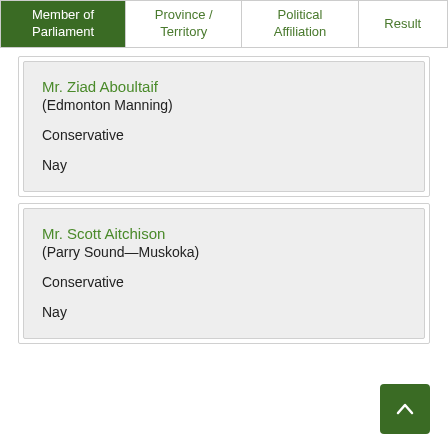| Member of Parliament | Province / Territory | Political Affiliation | Result |
| --- | --- | --- | --- |
| Mr. Ziad Aboultaif (Edmonton Manning) |  | Conservative | Nay |
| Mr. Scott Aitchison (Parry Sound—Muskoka) |  | Conservative | Nay |